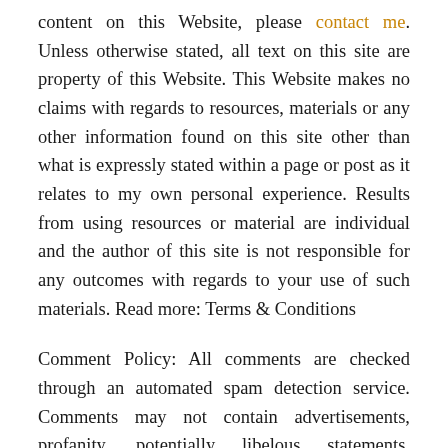content on this Website, please contact me. Unless otherwise stated, all text on this site are property of this Website. This Website makes no claims with regards to resources, materials or any other information found on this site other than what is expressly stated within a page or post as it relates to my own personal experience. Results from using resources or material are individual and the author of this site is not responsible for any outcomes with regards to your use of such materials. Read more: Terms & Conditions
Comment Policy: All comments are checked through an automated spam detection service. Comments may not contain advertisements, profanity, potentially libelous statements, language insensitive to others religion, race, gender, non-gender, age or comments not relating to the topic. You may not write personal attacks about another commenter or the author. Individuals may not make statements on behalf of any company or organization. You